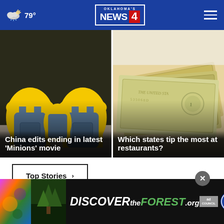Oklahoma's News 4 | 79°
[Figure (photo): Minion costumes viewed from behind, yellow characters in denim overalls]
China edits ending in latest 'Minions' movie
[Figure (photo): Close-up of US dollar bills fanned out]
Which states tip the most at restaurants?
Top Stories ›
[Figure (photo): DISCOVERtheFOREST.org advertisement banner with Ad Council and US Forest Service logos]